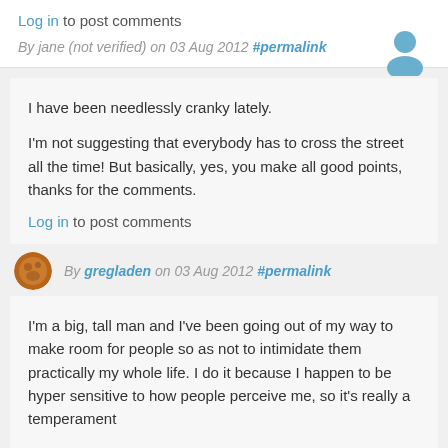Log in to post comments
By jane (not verified) on 03 Aug 2012 #permalink
I have been needlessly cranky lately.

I'm not suggesting that everybody has to cross the street all the time! But basically, yes, you make all good points, thanks for the comments.
Log in to post comments
By gregladen on 03 Aug 2012 #permalink
I'm a big, tall man and I've been going out of my way to make room for people so as not to intimidate them practically my whole life. I do it because I happen to be hyper sensitive to how people perceive me, so it's really a temperament